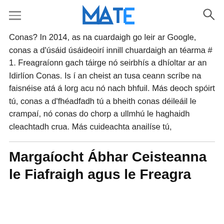[NAT logo] [hamburger menu] [search icon]
Conas? In 2014, as na cuardaigh go leir ar Google, conas a d'úsáid úsáideoirí innill chuardaigh an téarma # 1. Freagraíonn gach táirge nó seirbhís a dhíoltar ar an Idirlíon Conas. Is í an cheist an tusa ceann scríbe na faisnéise atá á lorg acu nó nach bhfuil. Más deoch spóirt tú, conas a d'fhéadfadh tú a bheith conas déileáil le crampaí, nó conas do chorp a ullmhú le haghaidh cleachtadh crua. Más cuideachta anailíse tú,
Margaíocht Ábhar Ceisteanna le Fiafraigh agus le Freagra